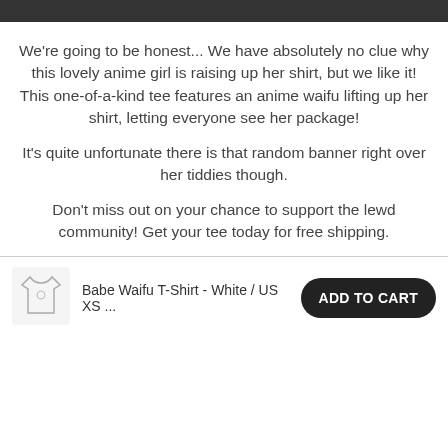We're going to be honest... We have absolutely no clue why this lovely anime girl is raising up her shirt, but we like it! This one-of-a-kind tee features an anime waifu lifting up her shirt, letting everyone see her package!
It's quite unfortunate there is that random banner right over her tiddies though.
Don't miss out on your chance to support the lewd community! Get your tee today for free shipping.
Babe Waifu T-Shirt - White / US XS ...
ADD TO CART